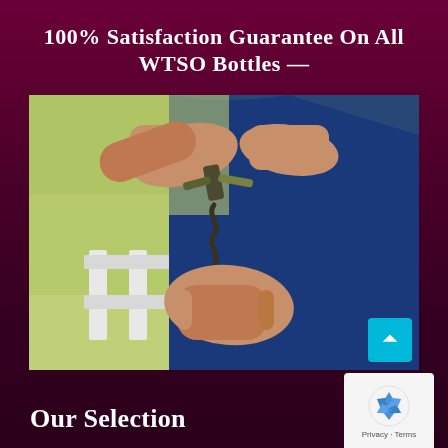100% Satisfaction Guarantee On All WTSO Bottles —
[Figure (photo): Close-up photo of a person using a corkscrew wine opener to open a bottle of wine outdoors, with a blurred green and white background.]
Our Selection